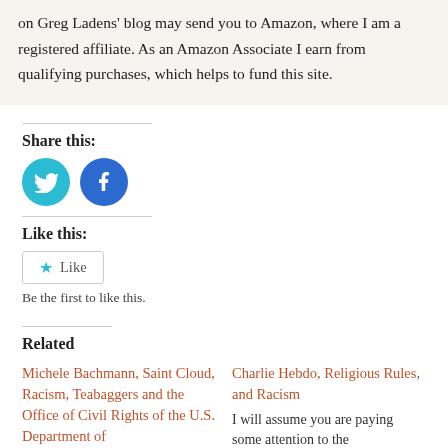on Greg Ladens' blog may send you to Amazon, where I am a registered affiliate. As an Amazon Associate I earn from qualifying purchases, which helps to fund this site.
Share this:
[Figure (illustration): Twitter bird icon (cyan circle) and Facebook 'f' icon (blue circle) as social share buttons]
Like this:
Like
Be the first to like this.
Related
Michele Bachmann, Saint Cloud, Racism, Teabaggers and the Office of Civil Rights of the U.S. Department of
Charlie Hebdo, Religious Rules, and Racism
I will assume you are paying some attention to the